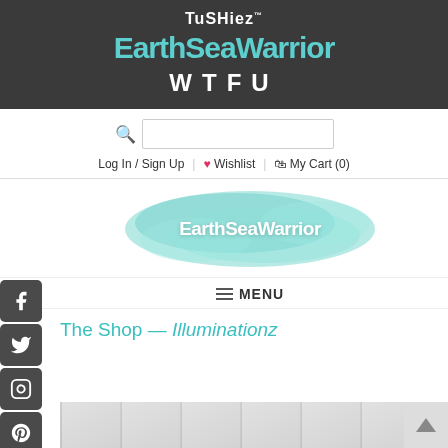[Figure (logo): Tushiez logo text and EarthSeaWarrior teal logo on dark background with WTFU text below]
[Figure (other): Search bar with magnifying glass icon and input field]
Log In / Sign Up  ♥ Wishlist  🛒 My Cart (0)
[Figure (logo): EarthSeaWarrior logo with teal watercolor splash background]
≡ MENU
The Shop — Illuminationz
[Figure (photo): Partial product image at bottom of page]